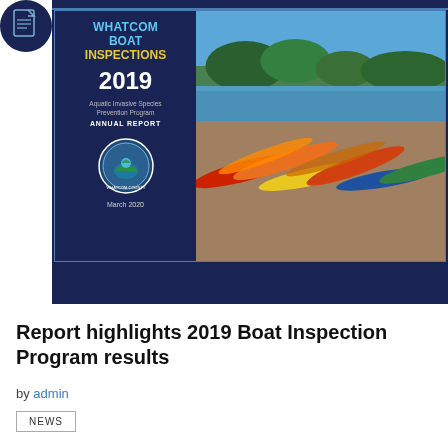[Figure (illustration): Document icon - stylized page with fold corner in dark blue circle]
[Figure (photo): Whatcom Boat Inspections 2019 Annual Report cover image showing kayaks on a beach with lake and trees in background. Left side has dark navy blue background with title text: WHATCOM BOAT INSPECTIONS 2019, Aquatic Invasive Species Prevention Program ANNUAL REPORT, Whatcom County seal, March 2020.]
Report highlights 2019 Boat Inspection Program results
by admin
NEWS